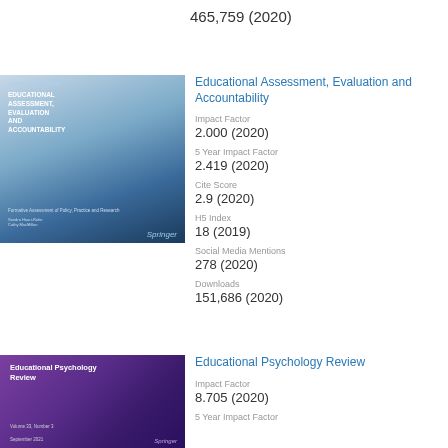465,759 (2020)
Educational Assessment, Evaluation and Accountability
Impact Factor
2.000 (2020)
5 Year Impact Factor
2.419 (2020)
Cite Score
2.9 (2020)
H5 Index
18 (2019)
Social Media Mentions
278 (2020)
Downloads
151,686 (2020)
[Figure (illustration): Journal cover for Educational Assessment, Evaluation and Accountability — blue gradient with white text]
Educational Psychology Review
Impact Factor
8.705 (2020)
5 Year Impact Factor
[Figure (illustration): Journal cover for Educational Psychology Review — purple gradient with white text]